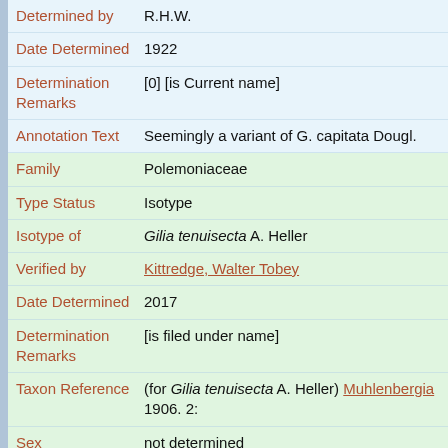| Field | Value |
| --- | --- |
| Determined by | R.H.W. |
| Date Determined | 1922 |
| Determination Remarks | [0] [is Current name] |
| Annotation Text | Seemingly a variant of G. capitata Dougl. |
| Family | Polemoniaceae |
| Type Status | Isotype |
| Isotype of | Gilia tenuisecta A. Heller |
| Verified by | Kittredge, Walter Tobey |
| Date Determined | 2017 |
| Determination Remarks | [is filed under name] |
| Taxon Reference | (for Gilia tenuisecta A. Heller) Muhlenbergia 1906. 2: |
| Sex | not determined |
| Phenology | FlowerAndFruit |
| Preparation Type | Sheet |
| Preparation | Pressed |